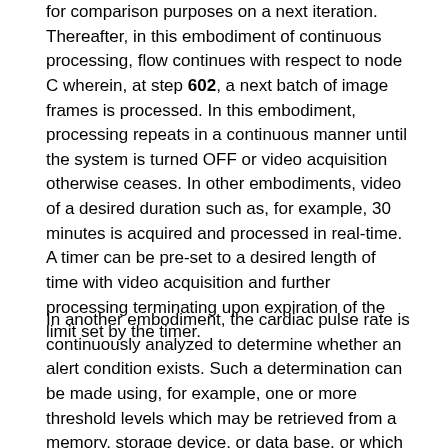for comparison purposes on a next iteration. Thereafter, in this embodiment of continuous processing, flow continues with respect to node C wherein, at step 602, a next batch of image frames is processed. In this embodiment, processing repeats in a continuous manner until the system is turned OFF or video acquisition otherwise ceases. In other embodiments, video of a desired duration such as, for example, 30 minutes is acquired and processed in real-time. A timer can be pre-set to a desired length of time with video acquisition and further processing terminating upon expiration of the limit set by the timer.
In another embodiment, the cardiac pulse rate is continuously analyzed to determine whether an alert condition exists. Such a determination can be made using, for example, one or more threshold levels which may be retrieved from a memory, storage device, or data base, or which may be set or pre-set by a technician or medical professional. The alert condition can be determined by a visual examination of the cardiac pulse rate, or by an algorithm monitoring these signals or by analyzing any of the intermediate results obtained from processing the